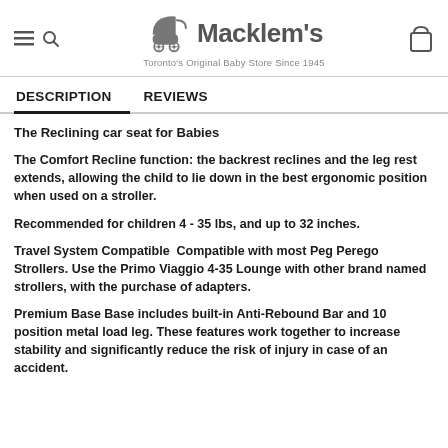Macklem's — Toronto's Original Baby Store Since 1945
DESCRIPTION   REVIEWS
The Reclining car seat for Babies
The Comfort Recline function: the backrest reclines and the leg rest extends, allowing the child to lie down in the best ergonomic position when used on a stroller.
Recommended for children 4 - 35 lbs, and up to 32 inches.
Travel System Compatible  Compatible with most Peg Perego Strollers. Use the Primo Viaggio 4-35 Lounge with other brand named strollers, with the purchase of adapters.
Premium Base Base includes built-in Anti-Rebound Bar and 10 position metal load leg. These features work together to increase stability and significantly reduce the risk of injury in case of an accident.